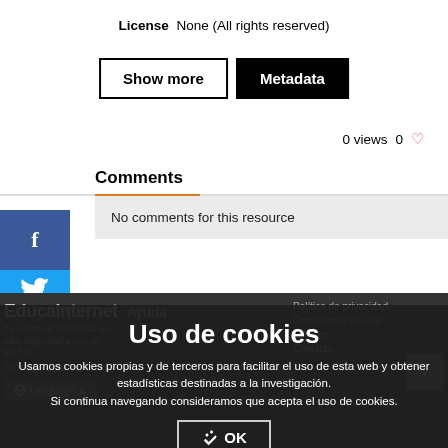License   None (All rights reserved)
Show more   Metadata
0 views   0 ♡
Comments
No comments for this resource
Uso de cookies
Usamos cookies propias y de terceros para facilitar el uso de esta web y obtener estadísticas destinadas a la investigación. Si continua navegando consideramos que acepta el uso de cookies.
OK
EducaInternet   Ayuda
Tu centro de referencia en ciberseguridad y uso de las TIC.
© Orange 2022 Rights
Política de privacidad
Condiciones de uso
Cookies
Contacto
Language ▲